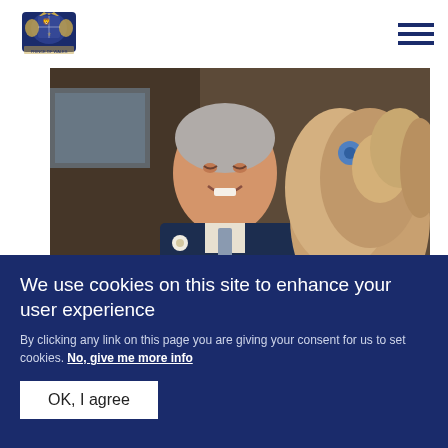Prince of Wales official website header with royal crest logo and hamburger menu
[Figure (photo): Prince Charles (Prince of Wales) smiling, wearing a dark suit with a white flower buttonhole, alongside a fluffy brown animal (llama or alpaca) wearing a blue flower, with a wooden barn structure in the background]
NEWS
The Prince of Wales and
We use cookies on this site to enhance your user experience
By clicking any link on this page you are giving your consent for us to set cookies. No, give me more info
OK, I agree